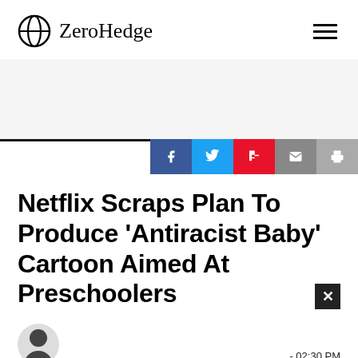ZeroHedge
Netflix Scraps Plan To Produce 'Antiracist Baby' Cartoon Aimed At Preschoolers
- 02:30 PM